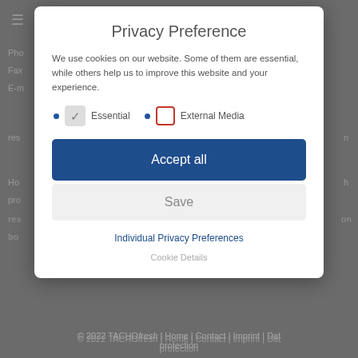[Figure (screenshot): Background website page partially visible behind modal overlay showing navigation, contact info snippets, and footer with copyright 2022 TACHOfresh]
Privacy Preference
We use cookies on our website. Some of them are essential, while others help us to improve this website and your experience.
Essential (checked)
External Media (unchecked)
Accept all
Save
Individual Privacy Preferences
Cookie Details
© 2022 TACHOfresh | Home | Contact | Imprint | Data protection